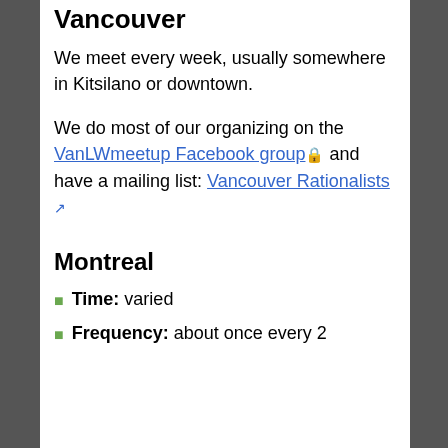Vancouver
We meet every week, usually somewhere in Kitsilano or downtown.
We do most of our organizing on the VanLWmeetup Facebook group 🔒 and have a mailing list: Vancouver Rationalists 🔗
Montreal
Time: varied
Frequency: about once every 2